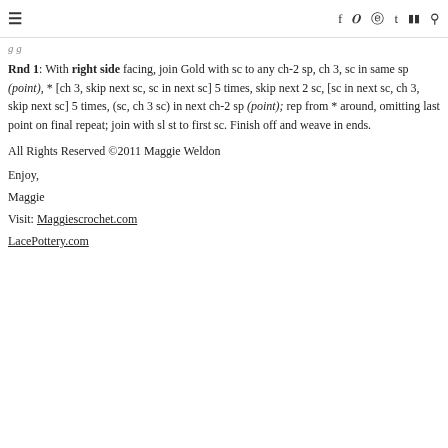☰  f  𝕐  ⊕  t  ▶  🔍
g g
Rnd 1: With right side facing, join Gold with sc to any ch-2 sp, ch 3, sc in same sp (point), * [ch 3, skip next sc, sc in next sc] 5 times, skip next 2 sc, [sc in next sc, ch 3, skip next sc] 5 times, (sc, ch 3 sc) in next ch-2 sp (point); rep from * around, omitting last point on final repeat; join with sl st to first sc. Finish off and weave in ends.
All Rights Reserved ©2011 Maggie Weldon
Enjoy,
Maggie
Visit: Maggiescrochet.com
LacePottery.com